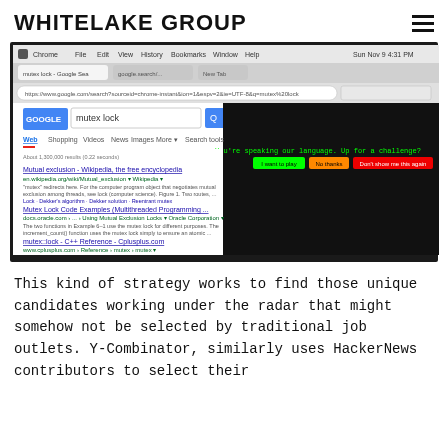WHITELAKE GROUP
[Figure (screenshot): Google Chrome browser screenshot showing a Google search for 'mutex lock'. The search results page displays results including 'Mutual exclusion - Wikipedia, the free encyclopedia', 'Mutex Lock Code Examples (Multithreaded Programming ...)', and 'mutex::lock - C++ Reference - Cplusplus.com'. A dark banner near the top of the page shows a challenge prompt 'You're speaking our language. Up for a challenge?' with buttons 'I want to play', 'No thanks', and 'Don't show me this again'.]
This kind of strategy works to find those unique candidates working under the radar that might somehow not be selected by traditional job outlets. Y-Combinator, similarly uses HackerNews contributors to select their